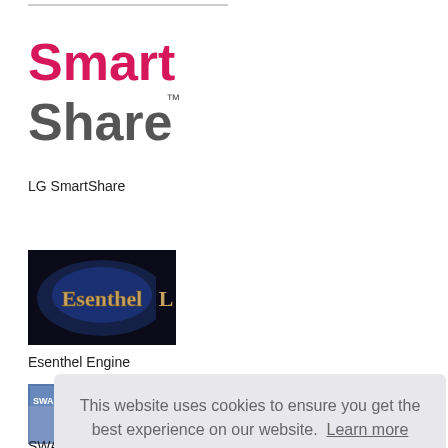[Figure (logo): LG SmartShare logo with 'Smart' in pink/red and 'Share™' in gray]
LG SmartShare
[Figure (screenshot): Esenthel Engine logo on dark background with fantasy medieval style lettering]
Esenthel Engine
[Figure (photo): Partial image of SWAT product partially obscured by cookie consent dialog]
SWA...
This website uses cookies to ensure you get the best experience on our website.  Learn more
OK